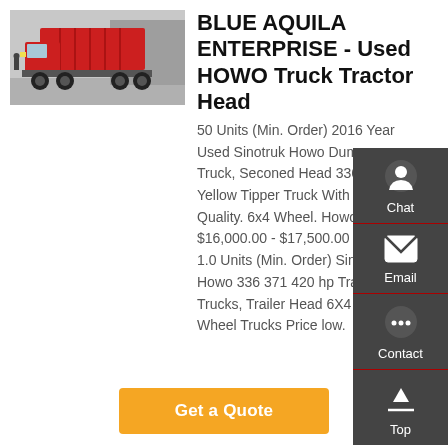[Figure (photo): Red HOWO dump truck parked in an industrial yard]
BLUE AQUILA ENTERPRISE - Used HOWO Truck Tractor Head
50 Units (Min. Order) 2016 Year Used Sinotruk Howo Dump Truck, Seconed Head 336Hp Yellow Tipper Truck With High Quality. 6x4 Wheel. Howo. $16,000.00 - $17,500.00 / Unit. 1.0 Units (Min. Order) Sinotruck Howo 336 371 420 hp Tractor Trucks, Trailer Head 6X4 10 Wheel Trucks Price low.